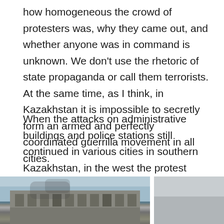how homogeneous the crowd of protesters was, why they came out, and whether anyone was in command is unknown. We don't use the rhetoric of state propaganda or call them terrorists. At the same time, as I think, in Kazakhstan it is impossible to secretly form an armed and perfectly coordinated guerrilla movement in all cities.
When the attacks on administrative buildings and police stations still continued in various cities in southern Kazakhstan, in the west the protest seemed to stay in the same format, and then simply died out. The economic demands of the workers there were met, the political partially: there was a reshuffle in the government, but Tokayev did not leave the presidency.
[Figure (photo): Photograph of a damaged or burned building, partially cropped at the bottom of the page. The building appears to be a large administrative or institutional structure. The sky is visible above.]